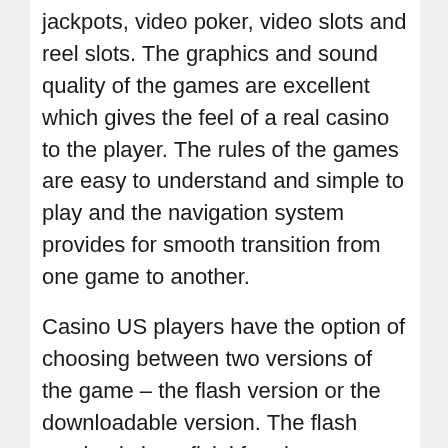jackpots, video poker, video slots and reel slots. The graphics and sound quality of the games are excellent which gives the feel of a real casino to the player. The rules of the games are easy to understand and simple to play and the navigation system provides for smooth transition from one game to another.
Casino US players have the option of choosing between two versions of the game – the flash version or the downloadable version. The flash version is beneficial for players whose computer are not compatible with the game software or have low speed internet connection. However, some games are not available in the flash version. Furthermore, the casino allows players to play for fun or with real